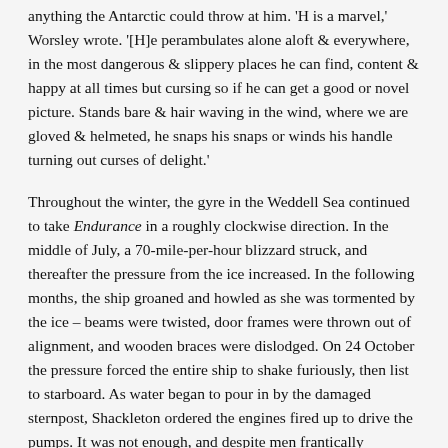anything the Antarctic could throw at him. 'H is a marvel,' Worsley wrote. '[H]e perambulates alone aloft & everywhere, in the most dangerous & slippery places he can find, content & happy at all times but cursing so if he can get a good or novel picture. Stands bare & hair waving in the wind, where we are gloved & helmeted, he snaps his snaps or winds his handle turning out curses of delight.'
Throughout the winter, the gyre in the Weddell Sea continued to take Endurance in a roughly clockwise direction. In the middle of July, a 70-mile-per-hour blizzard struck, and thereafter the pressure from the ice increased. In the following months, the ship groaned and howled as she was tormented by the ice – beams were twisted, door frames were thrown out of alignment, and wooden braces were dislodged. On 24 October the pressure forced the entire ship to shake furiously, then list to starboard. As water began to pour in by the damaged sternpost, Shackleton ordered the engines fired up to drive the pumps. It was not enough, and despite men frantically pumping throughout the day and night, the water continued to rise. Finally, on the evening of 27 October, Shackleton gave the order to abandon ship.